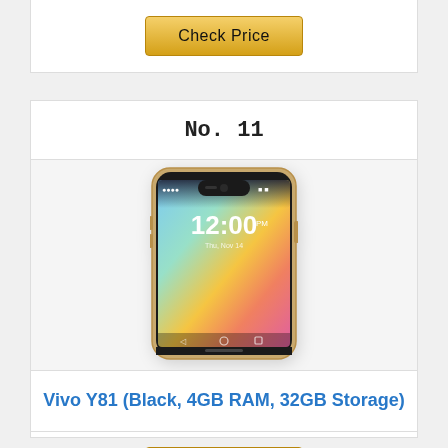[Figure (other): Check Price button (gold/yellow) from previous card, partially visible at top]
No. 11
[Figure (photo): Vivo Y81 smartphone showing lock screen with time 12:00, colorful gradient background (orange, pink, green), notch design, gold/black frame]
Vivo Y81 (Black, 4GB RAM, 32GB Storage)
[Figure (other): Check Price button (gold/yellow)]